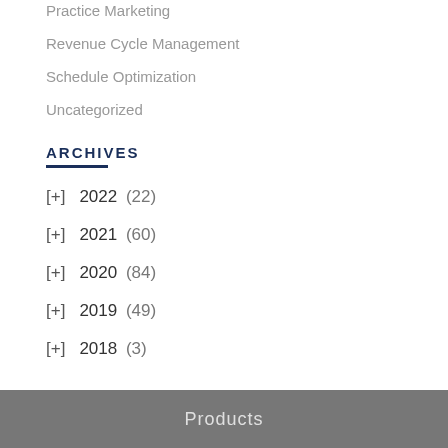Practice Marketing
Revenue Cycle Management
Schedule Optimization
Uncategorized
ARCHIVES
[+]  2022 (22)
[+]  2021 (60)
[+]  2020 (84)
[+]  2019 (49)
[+]  2018 (3)
Products